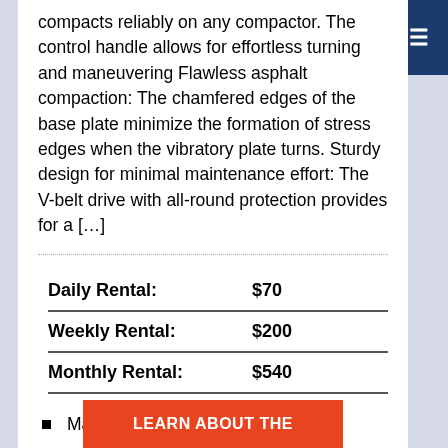compacts reliably on any compactor. The control handle allows for effortless turning and maneuvering Flawless asphalt compaction: The chamfered edges of the base plate minimize the formation of stress edges when the vibratory plate turns. Sturdy design for minimal maintenance effort: The V-belt drive with all-round protection provides for a […]
| Daily Rental: | $70 |
| Weekly Rental: | $200 |
| Monthly Rental: | $540 |
Manufacturer:  Wacker
LEARN ABOUT THE